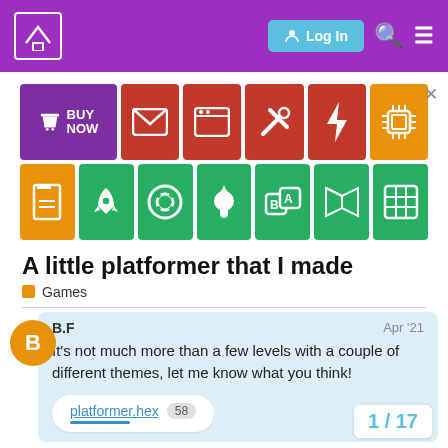Log In
[Figure (screenshot): Advertisement banner with colorful tiles: BUY NOW (purple), mail icon (red), window icon (red), tools icon (red), bolt icon (red), chip icon (orange) in top row; and doc icon (orange), rocket icon (green), life ring icon (green), torch icon (green), ABC cube icon (green), book icon (green), grid icon (green) in bottom row.]
A little platformer that I made
Games
B.F
Apr '21
It's not much more than a few levels with a couple of different themes, let me know what you think!
platformer.hex 58
1 / 17